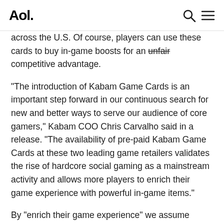Aol.
across the U.S. Of course, players can use these cards to buy in-game boosts for an unfair competitive advantage.

"The introduction of Kabam Game Cards is an important step forward in our continuous search for new and better ways to serve our audience of core gamers," Kabam COO Chris Carvalho said in a release. "The availability of pre-paid Kabam Game Cards at these two leading game retailers validates the rise of hardcore social gaming as a mainstream activity and allows more players to enrich their game experience with powerful in-game items."

By "enrich their game experience" we assume Kabam means "crush their weaker, non-paying foes." But really, the point of the Kabam gift cards is to allow a new…